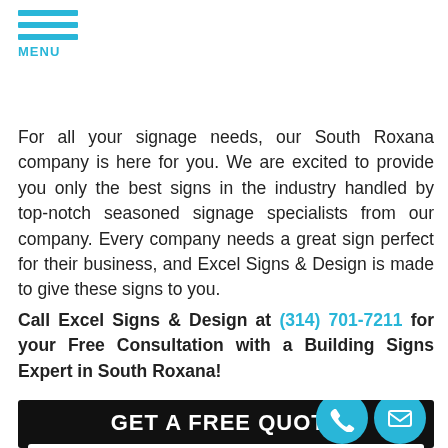MENU
For all your signage needs, our South Roxana company is here for you. We are excited to provide you only the best signs in the industry handled by top-notch seasoned signage specialists from our company. Every company needs a great sign perfect for their business, and Excel Signs & Design is made to give these signs to you.
Call Excel Signs & Design at (314) 701-7211 for your Free Consultation with a Building Signs Expert in South Roxana!
GET A FREE QUOTE
Full Name
Best Phone
Email Address
What type and size of signage do you need?